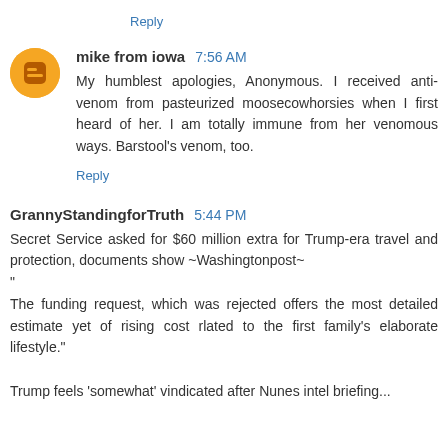Reply
mike from iowa 7:56 AM
My humblest apologies, Anonymous. I received anti-venom from pasteurized moosecowhorsies when I first heard of her. I am totally immune from her venomous ways. Barstool's venom, too.
Reply
GrannyStandingforTruth 5:44 PM
Secret Service asked for $60 million extra for Trump-era travel and protection, documents show ~Washingtonpost~
"
The funding request, which was rejected offers the most detailed estimate yet of rising cost rlated to the first family's elaborate lifestyle."
Trump feels 'somewhat' vindicated after Nunes intel briefing...